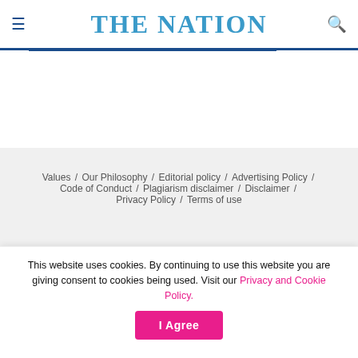THE NATION
Values / Our Philosophy / Editorial policy / Advertising Policy / Code of Conduct / Plagiarism disclaimer / Disclaimer / Privacy Policy / Terms of use
© 2022 Nation Publications Limited. All Rights Reserved
This website uses cookies. By continuing to use this website you are giving consent to cookies being used. Visit our Privacy and Cookie Policy.